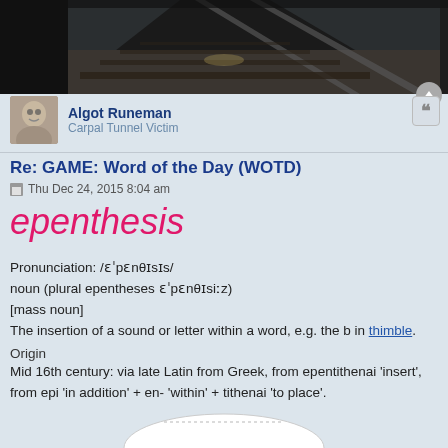[Figure (photo): Dark photograph of railway tracks with gravel, partially obscured, dark/moody tone]
Algot Runeman
Carpal Tunnel Victim
Re: GAME: Word of the Day (WOTD)
Thu Dec 24, 2015 8:04 am
epenthesis
Pronunciation: /ɛˈpɛnθɪsɪs/
noun (plural epentheses ɛˈpɛnθɪsiːz)
[mass noun]
The insertion of a sound or letter within a word, e.g. the b in thimble.
Origin
Mid 16th century: via late Latin from Greek, from epentithenai 'insert', from epi 'in addition' + en- 'within' + tithenai 'to place'.
[Figure (illustration): Partial circular illustration or logo at bottom of page, mostly cut off]